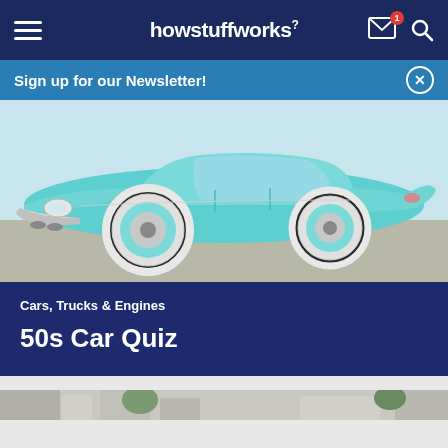howstuffworks
Sign up for our Newsletter!
[Figure (photo): A classic 1950s light teal/turquoise convertible car with white wall tires, chrome bumpers, parked on pavement.]
Cars, Trucks & Engines
50s Car Quiz
[Figure (photo): Partial view of another image at the bottom of the page, appears to show a street or building scene.]